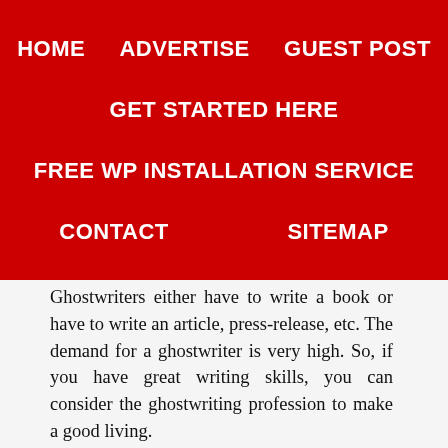HOME    ADVERTISE    GUEST POST
GET STARTED HERE
FREE WP INSTALLATION SERVICE
CONTACT    SITEMAP
Ghostwriters either have to write a book or have to write an article, press-release, etc. The demand for a ghostwriter is very high. So, if you have great writing skills, you can consider the ghostwriting profession to make a good living.